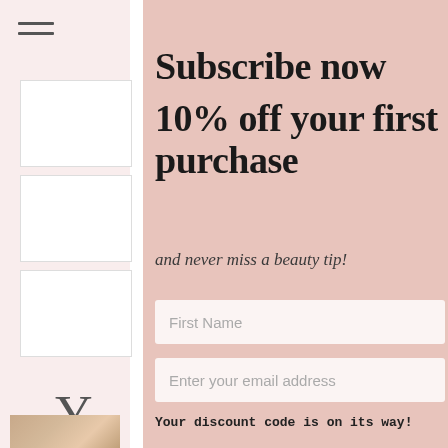[Figure (screenshot): Navigation hamburger menu icon with two horizontal lines on pink background]
[Figure (screenshot): Three white product card panels stacked vertically on left side panel]
Subscribe now 10% off your first purchase
and never miss a beauty tip!
First Name
Enter your email address
Your discount code is on its way!
[Figure (photo): Partial close-up photo of a person at bottom left]